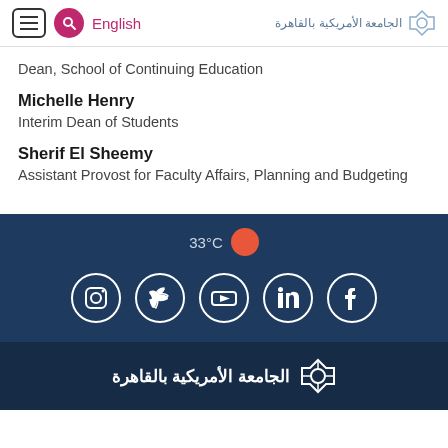English | الجامعة الأمريكية بالقاهرة
Dean, School of Continuing Education
Michelle Henry
Interim Dean of Students
Sherif El Sheemy
Assistant Provost for Faculty Affairs, Planning and Budgeting
33°C | Social media icons: Instagram, Twitter, YouTube, LinkedIn, Facebook
[Figure (logo): الجامعة الأمريكية بالقاهرة logo in white on dark navy background]